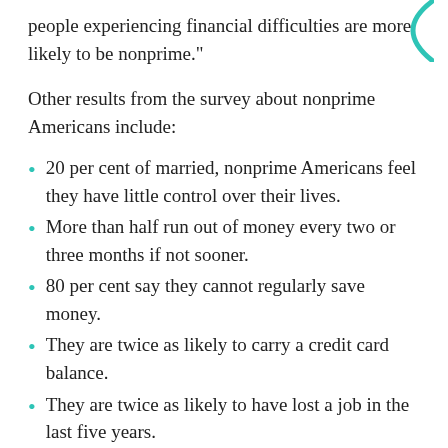people experiencing financial difficulties are more likely to be nonprime."
Other results from the survey about nonprime Americans include:
20 per cent of married, nonprime Americans feel they have little control over their lives.
More than half run out of money every two or three months if not sooner.
80 per cent say they cannot regularly save money.
They are twice as likely to carry a credit card balance.
They are twice as likely to have lost a job in the last five years.
They are 1.4 times as likely to have experienced pay or work hour cuts in the last five years.
They are nearly three times as likely to worry about monthly expenses.
They are 1.5 times more likely to admit their finances